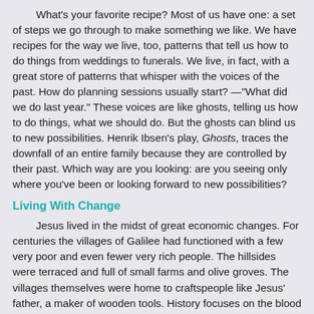What's your favorite recipe? Most of us have one: a set of steps we go through to make something we like. We have recipes for the way we live, too, patterns that tell us how to do things from weddings to funerals. We live, in fact, with a great store of patterns that whisper with the voices of the past. How do planning sessions usually start? —"What did we do last year." These voices are like ghosts, telling us how to do things, what we should do. But the ghosts can blind us to new possibilities. Henrik Ibsen's play, Ghosts, traces the downfall of an entire family because they are controlled by their past. Which way are you looking: are you seeing only where you've been or looking forward to new possibilities?
Living With Change
Jesus lived in the midst of great economic changes. For centuries the villages of Galilee had functioned with a few very poor and even fewer very rich people. The hillsides were terraced and full of small farms and olive groves. The villages themselves were home to craftspeople like Jesus' father, a maker of wooden tools. History focuses on the blood and fire of battles and kings; in the Galilee, life went on, day to day, year to year, in the same way for hundreds of